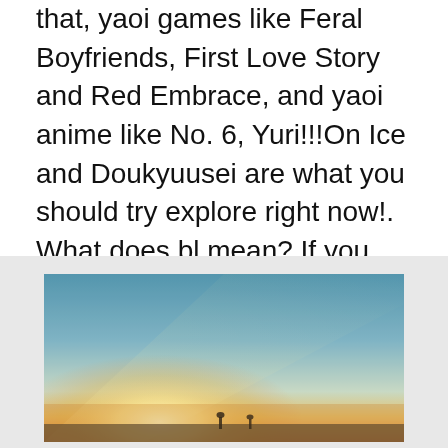that, yaoi games like Feral Boyfriends, First Love Story and Red Embrace, and yaoi anime like No. 6, Yuri!!!On Ice and Doukyuusei are what you should try explore right now!. What does bl mean? If you like adventure manga, try one piece manga free. If you want to read thriller or horror manga, read attack on titan manga free, demon slayer: kimetsu no yaiba manga free and the promised neverland manga free.
[Figure (photo): A scenic outdoor photo showing a sunset or sunrise with warm golden light near the horizon, a wide sky transitioning from teal/blue at top to warm orange/yellow near the horizon, and small figure(s) silhouetted in the lower portion.]